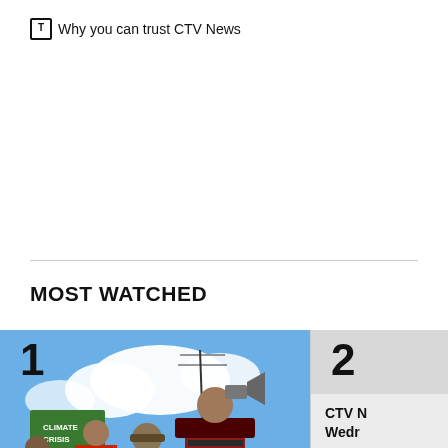Why you can trust CTV News
MOST WATCHED
[Figure (photo): Protest scene: Indigenous people in traditional regalia marching, one person holding a megaphone, banner visible in background reading 'CLIMATE CRISIS', blue sky with clouds. Play button overlay at bottom right.]
Pipeline protesters block major bridge
CTV N
Wedr